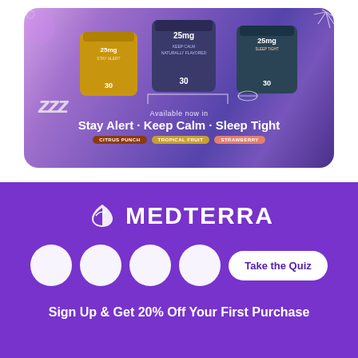[Figure (illustration): Advertisement banner for Medterra CBD gummies showing three product jars (Stay Alert, Keep Calm, Sleep Tight) in citrus punch, tropical fruit, and strawberry flavors on a purple gradient background with zzz decorative text and flavor badges.]
[Figure (logo): Medterra logo in white on purple background with leaf icon]
[Figure (infographic): Row of four white circles (social media icons) and a Take the Quiz button on purple background]
Sign Up & Get 20% Off Your First Purchase